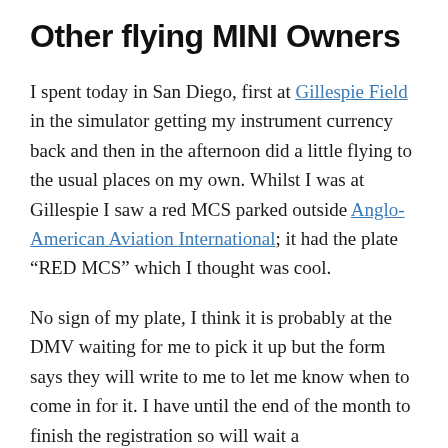Other flying MINI Owners
I spent today in San Diego, first at Gillespie Field in the simulator getting my instrument currency back and then in the afternoon did a little flying to the usual places on my own. Whilst I was at Gillespie I saw a red MCS parked outside Anglo-American Aviation International; it had the plate “RED MCS” which I thought was cool.
No sign of my plate, I think it is probably at the DMV waiting for me to pick it up but the form says they will write to me to let me know when to come in for it. I have until the end of the month to finish the registration so will wait a